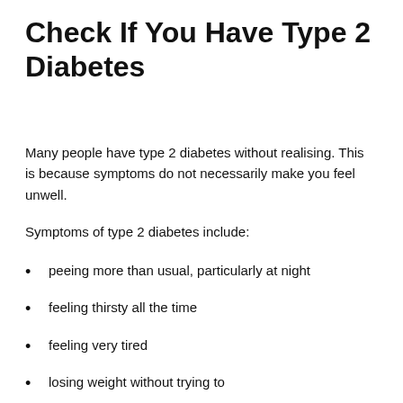Check If You Have Type 2 Diabetes
Many people have type 2 diabetes without realising. This is because symptoms do not necessarily make you feel unwell.
Symptoms of type 2 diabetes include:
peeing more than usual, particularly at night
feeling thirsty all the time
feeling very tired
losing weight without trying to
itching around your penis or vagina, or repeatedly getting thrush